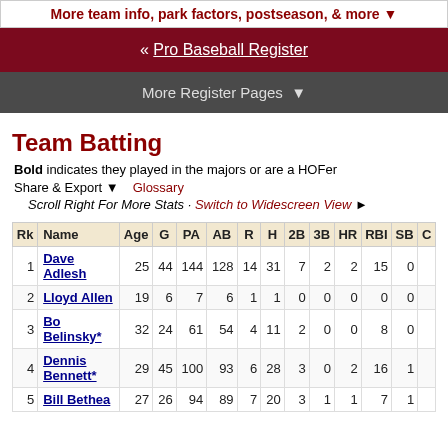More team info, park factors, postseason, & more ▼
« Pro Baseball Register
More Register Pages ▼
Team Batting
Bold indicates they played in the majors or are a HOFer
Share & Export ▼   Glossary
Scroll Right For More Stats · Switch to Widescreen View ►
| Rk | Name | Age | G | PA | AB | R | H | 2B | 3B | HR | RBI | SB | C |
| --- | --- | --- | --- | --- | --- | --- | --- | --- | --- | --- | --- | --- | --- |
| 1 | Dave Adlesh | 25 | 44 | 144 | 128 | 14 | 31 | 7 | 2 | 2 | 15 | 0 |  |
| 2 | Lloyd Allen | 19 | 6 | 7 | 6 | 1 | 1 | 0 | 0 | 0 | 0 | 0 |  |
| 3 | Bo Belinsky* | 32 | 24 | 61 | 54 | 4 | 11 | 2 | 0 | 0 | 8 | 0 |  |
| 4 | Dennis Bennett* | 29 | 45 | 100 | 93 | 6 | 28 | 3 | 0 | 2 | 16 | 1 |  |
| 5 | Bill Bethea | 27 | 26 | 94 | 89 | 7 | 20 | 3 | 1 | 1 | 7 | 1 |  |